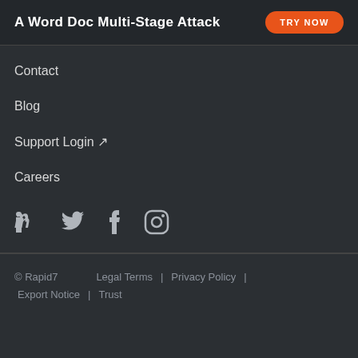A Word Doc Multi-Stage Attack
Contact
Blog
Support Login ↗
Careers
[Figure (other): Social media icons: LinkedIn, Twitter, Facebook, Instagram]
© Rapid7   Legal Terms  |  Privacy Policy  |  Export Notice  |  Trust